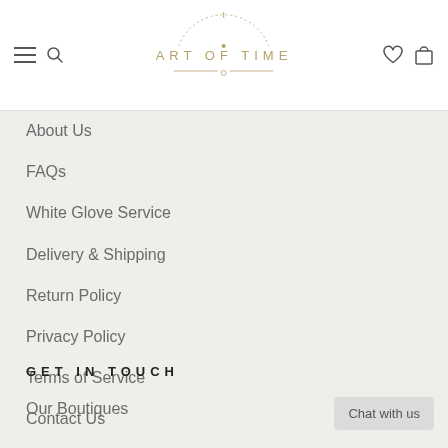ART OF TIME
About Us
FAQs
White Glove Service
Delivery & Shipping
Return Policy
Privacy Policy
Terms of Service
Contact Us
Refund policy
GET IN TOUCH
Our Boutiques
Chat with us